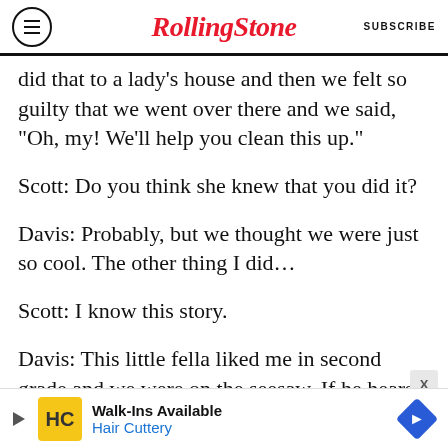RollingStone  SUBSCRIBE
did that to a lady’s house and then we felt so guilty that we went over there and we said, “Oh, my! We’ll help you clean this up.”
Scott: Do you think she knew that you did it?
Davis: Probably, but we thought we were just so cool. The other thing I did…
Scott: I know this story.
Davis: This little fella liked me in second grade and we were on the seesaw. If he hears this or reads this, I send him my sincere apologies. I jumped off the seesaw when he was up. [Hillary
[Figure (other): Hair Cuttery advertisement banner with Walk-Ins Available text and Hair Cuttery logo]